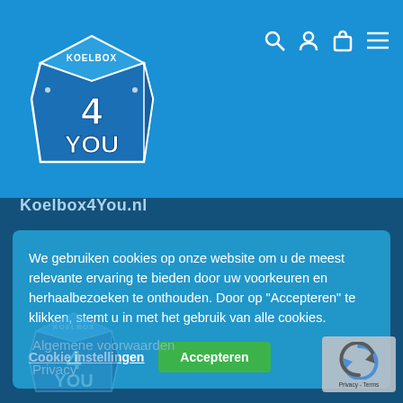[Figure (logo): Koelbox4You logo - blue box with 4YOU text and KOELBOX4YOU written on it]
[Figure (infographic): Navigation icons: search (magnifying glass), user account, shopping bag/lock, hamburger menu]
Koelbox4You.nl
We gebruiken cookies op onze website om u de meest relevante ervaring te bieden door uw voorkeuren en herhaalbezoeken te onthouden. Door op "Accepteren" te klikken, stemt u in met het gebruik van alle cookies.
Cookie instellingen
Accepteren
[Figure (logo): Koelbox4You logo repeated at bottom, dimmed]
Algemene voorwaarden
Privacy
[Figure (other): reCAPTCHA badge with circular arrows logo and Privacy - Terms text]